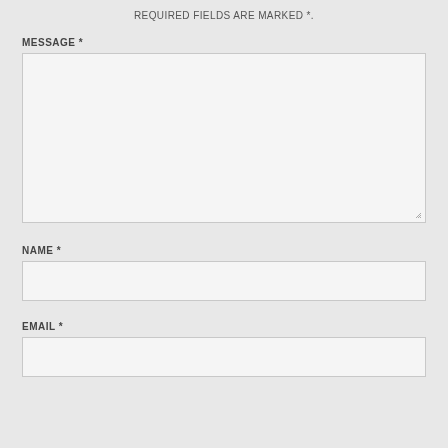REQUIRED FIELDS ARE MARKED *.
MESSAGE *
[Figure (other): Large textarea input box with resize handle at bottom right]
NAME *
[Figure (other): Single-line text input box for name]
EMAIL *
[Figure (other): Single-line text input box for email (partially visible)]